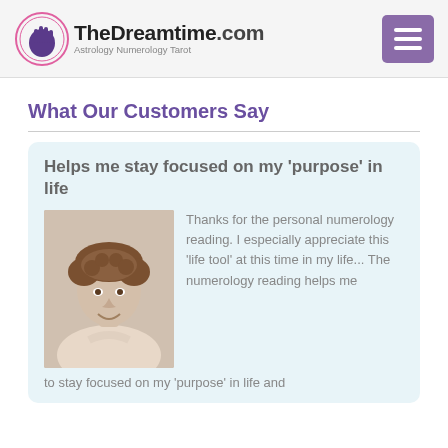[Figure (logo): TheDreamtime.com logo with hand icon and tagline Astrology Numerology Tarot]
[Figure (other): Purple hamburger menu button with three white horizontal lines]
What Our Customers Say
Helps me stay focused on my ‘purpose’ in life
[Figure (photo): Photo of a smiling middle-aged woman with short curly brown hair wearing a light-colored top]
Thanks for the personal numerology reading. I especially appreciate this ‘life tool’ at this time in my life... The numerology reading helps me to stay focused on my ‘purpose’ in life and